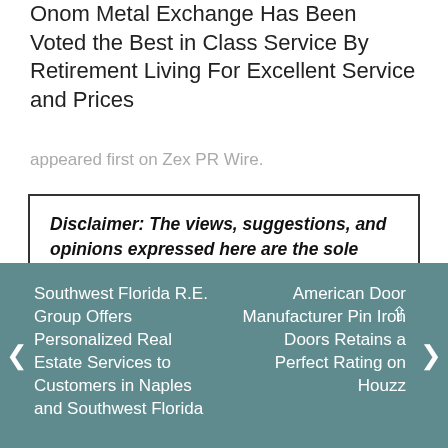Onom Metal Exchange Has Been Voted the Best in Class Service By Retirement Living For Excellent Service and Prices
appeared first on Zex PR Wire.
Disclaimer: The views, suggestions, and opinions expressed here are the sole responsibility of the experts. No Sounder Mirror journalist was involved in the writing and production of this article.
Southwest Florida R.E. Group Offers Personalized Real Estate Services to Customers in Naples and Southwest Florida
American Door Manufacturer Pin Iron Doors Retains a Perfect Rating on Houzz